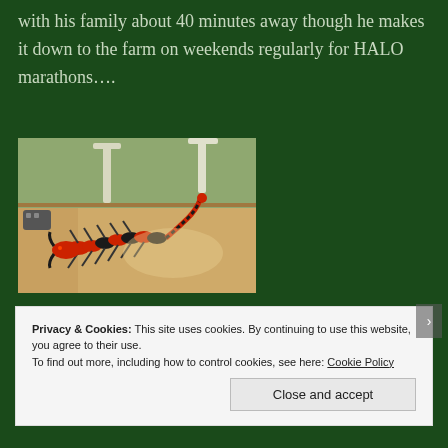with his family about 40 minutes away though he makes it down to the farm on weekends regularly for HALO marathons….
[Figure (photo): A red and black robotic centipede/scorpion LEGO-style model on a wooden dining table, with chairs visible in the background.]
These two best friends share their
Privacy & Cookies: This site uses cookies. By continuing to use this website, you agree to their use. To find out more, including how to control cookies, see here: Cookie Policy
Close and accept